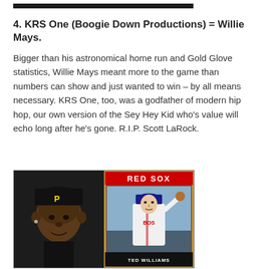[Figure (photo): Dark/black image bar at the top of the page]
4. KRS One (Boogie Down Productions) = Willie Mays.
Bigger than his astronomical home run and Gold Glove statistics, Willie Mays meant more to the game than numbers can show and just wanted to win – by all means necessary.  KRS One, too, was a godfather of modern hip hop, our own version of the Sey Hey Kid who's value will echo long after he's gone.  R.I.P. Scott LaRock.
[Figure (photo): Side-by-side image: left side shows a man wearing a Pittsburgh Pirates baseball cap (black), right side shows a Red Sox baseball card featuring Ted Williams in a Boston uniform]